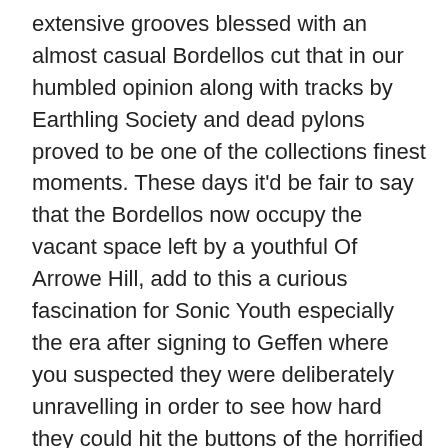extensive grooves blessed with an almost casual Bordellos cut that in our humbled opinion along with tracks by Earthling Society and dead pylons proved to be one of the collections finest moments. These days it'd be fair to say that the Bordellos now occupy the vacant space left by a youthful Of Arrowe Hill, add to this a curious fascination for Sonic Youth especially the era after signing to Geffen where you suspected they were deliberately unravelling in order to see how hard they could hit the buttons of the horrified suited and booted executives (evidence of such is provided on the discordant shakedown of the 'goo'-esque 'nurse, the screens!'). In fact the Bordellos operate exactly at that defiantly underground / independent axis to which Mr Moore so obviously revels and obsesses about. Oh and add in the aforementioned Velvets (not least on the smoked listless primal psych blues prowl of the weird n'